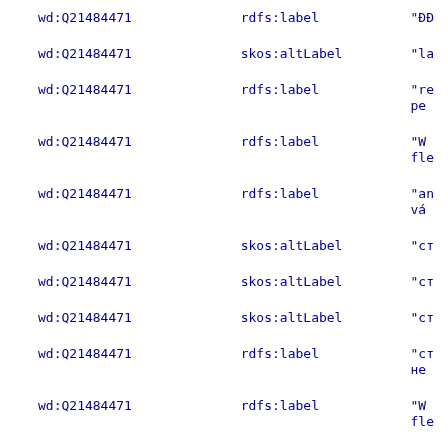| wd:Q21484471 | rdfs:label | "[truncated] |
| wd:Q21484471 | skos:altLabel | "la... |
| wd:Q21484471 | rdfs:label | "re... pe... |
| wd:Q21484471 | rdfs:label | "W... fle... |
| wd:Q21484471 | rdfs:label | "an... vá... |
| wd:Q21484471 | skos:altLabel | "ct... |
| wd:Q21484471 | skos:altLabel | "ct... |
| wd:Q21484471 | skos:altLabel | "ct... |
| wd:Q21484471 | rdfs:label | "ct... не... |
| wd:Q21484471 | rdfs:label | "W... fle... |
| wd:Q21484471 | skos:altLabel | "W... |
| wd:Q21484471 | schema:description | "Vi... |